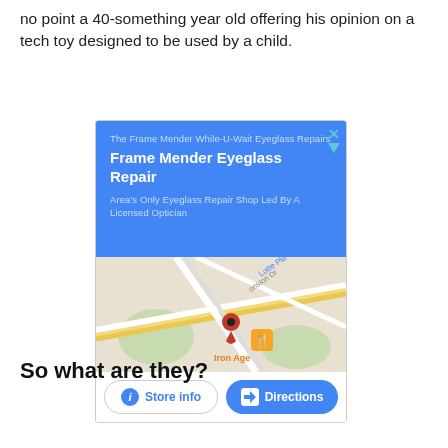no point a 40-something year old offering his opinion on a tech toy designed to be used by a child.
[Figure (screenshot): Google Maps advertisement for Frame Mender Eyeglass Repair showing blue ad card with business name, description, map thumbnail showing Iron Age location, and Store info / Directions buttons.]
So what are they?